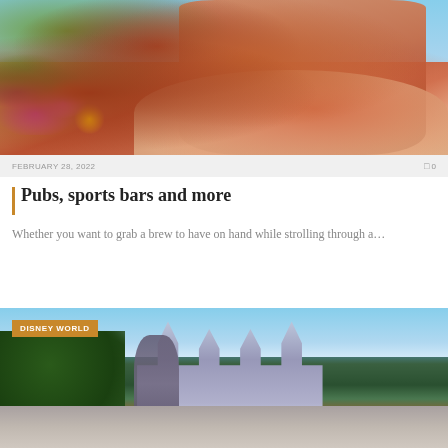[Figure (photo): A hand holding a plastic cup of beer/amber drink in front of colorful flower beds at what appears to be a theme park]
FEBRUARY 28, 2022
0
Pubs, sports bars and more
Whether you want to grab a brew to have on hand while strolling through a…
[Figure (photo): Disney World / Disneyland scene with statue of Walt Disney and Mickey Mouse in front of Sleeping Beauty Castle, with a DISNEY WORLD badge overlay]